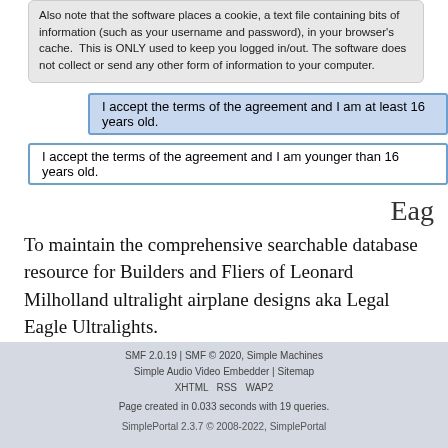Also note that the software places a cookie, a text file containing bits of information (such as your username and password), in your browser's cache. This is ONLY used to keep you logged in/out. The software does not collect or send any other form of information to your computer.
I accept the terms of the agreement and I am at least 16 years old.
I accept the terms of the agreement and I am younger than 16 years old.
Eag
To maintain the comprehensive searchable database resource for Builders and Fliers of Leonard Milholland ultralight airplane designs aka Legal Eagle Ultralights.
SMF 2.0.19 | SMF © 2020, Simple Machines | Simple Audio Video Embedder | Sitemap | XHTML RSS WAP2 | Page created in 0.033 seconds with 19 queries. | SimplePortal 2.3.7 © 2008-2022, SimplePortal